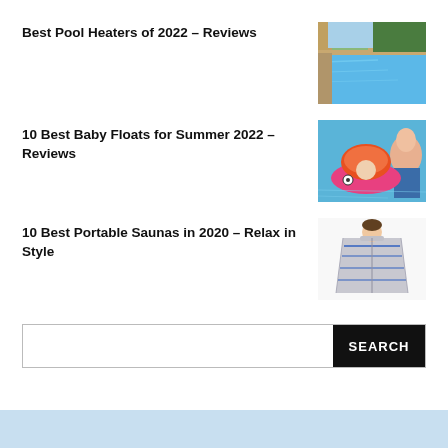Best Pool Heaters of 2022 – Reviews
[Figure (photo): Outdoor swimming pool with blue water, stone surround, and lush greenery in background]
10 Best Baby Floats for Summer 2022 – Reviews
[Figure (photo): Baby in a pink flamingo float with canopy, held by a woman in a pool]
10 Best Portable Saunas in 2020 – Relax in Style
[Figure (photo): Portable silver/blue sauna tent with a person's head visible at the top]
SEARCH